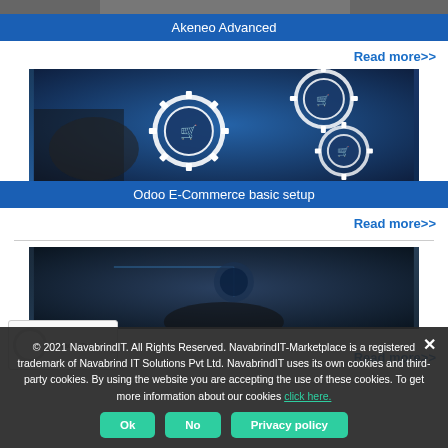[Figure (photo): Top cropped image strip showing partial photo above Akeneo Advanced banner]
Akeneo Advanced
Read more>>
[Figure (photo): E-commerce gears with shopping cart icons on dark blue digital background]
Odoo E-Commerce basic setup
Read more>>
[Figure (photo): Partial photo with hands and circuit board on dark background]
Read more>>
© 2021 NavabrindIT. All Rights Reserved. NavabrindIT-Marketplace is a registered trademark of Navabrind IT Solutions Pvt Ltd. NavabrindIT uses its own cookies and third-party cookies. By using the website you are accepting the use of these cookies. To get more information about our cookies click here.
Ok
No
Privacy policy